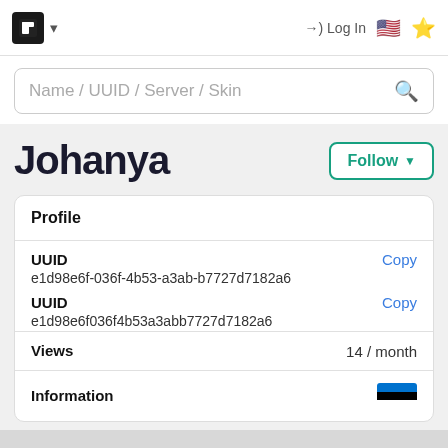NameCraft logo, dropdown, Log In, US flag, sun icon
Name / UUID / Server / Skin
Johanya
| Field | Value | Action |
| --- | --- | --- |
| Profile |  |  |
| UUID | e1d98e6f-036f-4b53-a3ab-b7727d7182a6 | Copy |
| UUID | e1d98e6f036f4b53a3abb7727d7182a6 | Copy |
| Views | 14 / month |  |
| Information |  | 🇪🇪 |